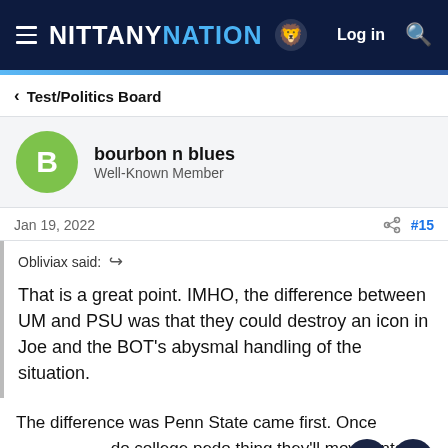NITTANY NATION  Log in
Test/Politics Board
bourbon n blues
Well-Known Member
Jan 19, 2022  #15
Obliviax said: That is a great point. IMHO, the difference between UM and PSU was that they could destroy an icon in Joe and the BOT's abysmal handling of the situation.
The difference was Penn State came first. Once do college pedo thing they'll move onto something else . Don't